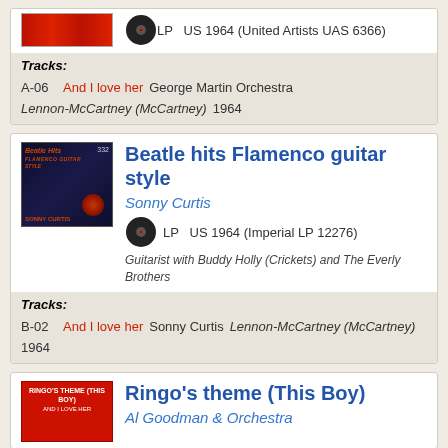LP  US 1964 (United Artists UAS 6366)
Tracks:
A-06  And I love her  George Martin Orchestra  Lennon-McCartney (McCartney)  1964
Beatle hits Flamenco guitar style
Sonny Curtis
LP  US 1964 (Imperial LP 12276)
Guitarist with Buddy Holly (Crickets) and The Everly Brothers
Tracks:
B-02  And I love her  Sonny Curtis  Lennon-McCartney (McCartney)  1964
Ringo's theme (This Boy)
Al Goodman & Orchestra